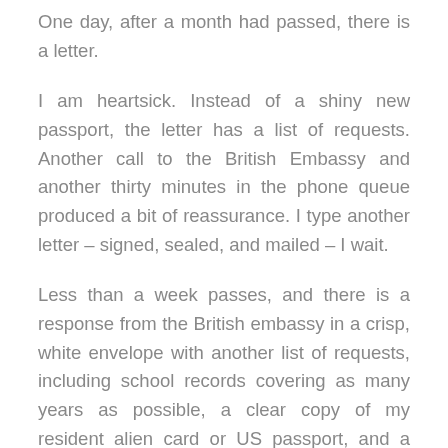One day, after a month had passed, there is a letter.
I am heartsick. Instead of a shiny new passport, the letter has a list of requests. Another call to the British Embassy and another thirty minutes in the phone queue produced a bit of reassurance. I type another letter – signed, sealed, and mailed – I wait.
Less than a week passes, and there is a response from the British embassy in a crisp, white envelope with another list of requests, including school records covering as many years as possible, a clear copy of my resident alien card or US passport, and a letter on letterhead paper from a professional person such as my doctor, dentist, teacher, religious instructor, etc. stating how long this person has known me and in what capacity. This person must also sign a photo of